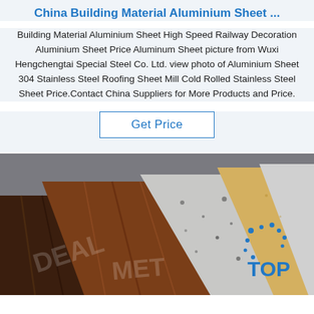China Building Material Aluminium Sheet ...
Building Material Aluminium Sheet High Speed Railway Decoration Aluminium Sheet Price Aluminum Sheet picture from Wuxi Hengchengtai Special Steel Co. Ltd. view photo of Aluminium Sheet 304 Stainless Steel Roofing Sheet Mill Cold Rolled Stainless Steel Sheet Price.Contact China Suppliers for More Products and Price.
Get Price
[Figure (photo): Fan of decorative aluminium sheets with various finishes: dark wood grain, medium wood grain, granite/speckled, gold/yellow, and light grey. A watermark reads 'DEAL MET' and there is a 'TOP' logo with blue dots in the lower right corner.]